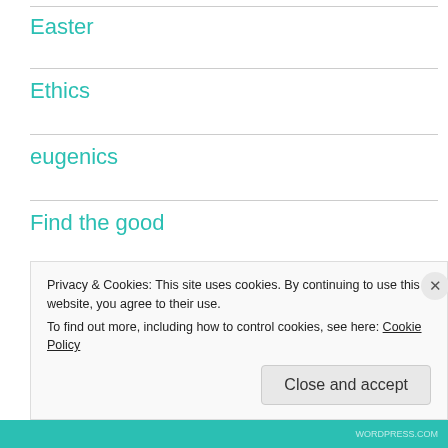Easter
Ethics
eugenics
Find the good
Generational traumas
Getting through hard times
Privacy & Cookies: This site uses cookies. By continuing to use this website, you agree to their use.
To find out more, including how to control cookies, see here: Cookie Policy
Close and accept